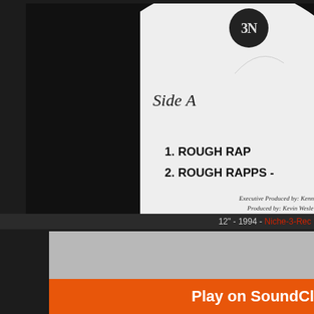[Figure (photo): Close-up photo of a vinyl record label for Side A. White circular label with '3N' logo at top, italic 'Side A' text on the left, a small apple/rabbit icon on the right, and two bold track listings: '1. ROUGH RAP...' and '2. ROUGH RAPPS -'. Below the tracks are production credits in italic text: 'Executive Produced by: Kenneth...', 'Produced by: Kevin Wesle...', 'Engineered by Ray "Monday" L...', and special thanks text. The record is framed against a dark/black background.]
12" - 1994 - Niche-3-Rec...
[Figure (screenshot): SoundCloud embedded player widget showing a gray header section and an orange 'Play on SoundCl...' button at the bottom.]